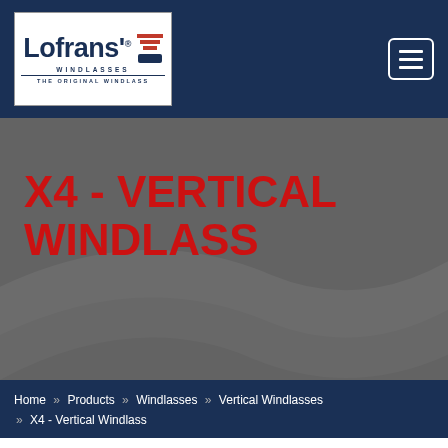Lofrans' Windlasses — THE ORIGINAL WINDLASS
X4 - VERTICAL WINDLASS
Home » Products » Windlasses » Vertical Windlasses » X4 - Vertical Windlass
X4 - Vertical Windlass
Main Features: